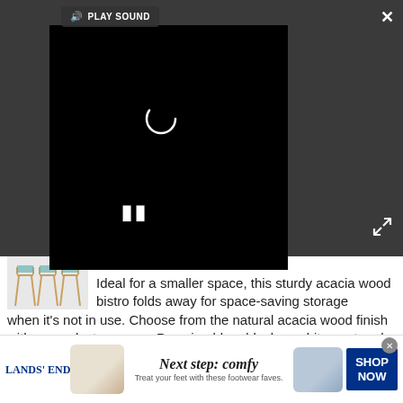[Figure (screenshot): Video player overlay on dark gray background showing a loading spinner, pause button, play sound button, close button (X), and expand button. Video content is black/loading.]
Redoute
Ideal for a smaller space, this sturdy acacia wood bistro folds away for space-saving storage when it's not in use. Choose from the natural acacia wood finish with a eucalyptus green, Prussian blue, black or white seat and tabletop for contrast.
VIEW DEAL
[Figure (photo): Lands' End advertisement banner showing white sandal shoe on left, blue slide sandal on right, with text 'Next step: comfy - Treat your feet with these footwear faves.' and a dark blue 'SHOP NOW' button.]